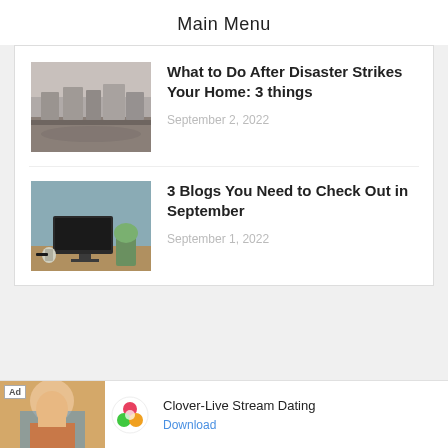Main Menu
What to Do After Disaster Strikes Your Home: 3 things
September 2, 2022
3 Blogs You Need to Check Out in September
September 1, 2022
[Figure (infographic): Ad banner for Clover-Live Stream Dating app with photo of woman on beach, Clover logo, and Download link]